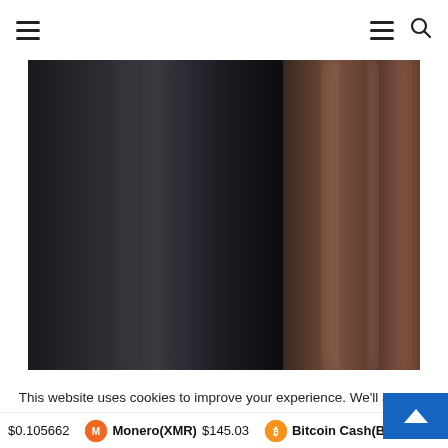Navigation bar with hamburger menu and search icon
[Figure (photo): Dark blurred abstract image with two panels: left panel mostly black/dark gray with subtle light streaks, right panel dark brownish/copper tones with vertical light streaks]
This website uses cookies to improve your experience. We'll assume you're ok with this, but you can opt-out if you w
$0.105662  Monero(XMR) $145.03  Bitcoin Cash(BCH) $